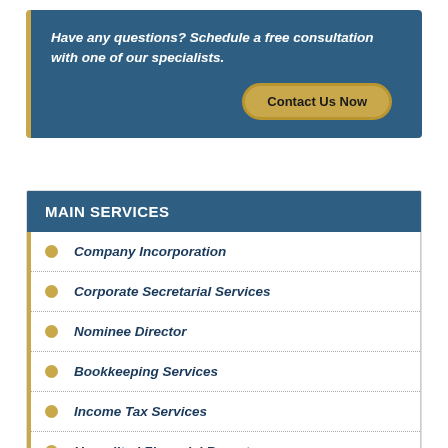Have any questions? Schedule a free consultation with one of our specialists.
Contact Us Now
MAIN SERVICES
Company Incorporation
Corporate Secretarial Services
Nominee Director
Bookkeeping Services
Income Tax Services
Unaudited Financial Report